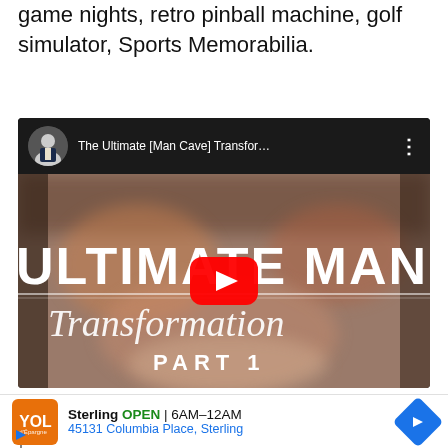game nights, retro pinball machine, golf simulator, Sports Memorabilia.
[Figure (screenshot): Embedded YouTube video player showing 'The Ultimate [Man Cave] Transfor…' with thumbnail displaying bold white text 'ULTIMATE MAN CAV' and italic 'Transformation PART 1' over a blurred interior room background, with a red play button in the center.]
[Figure (infographic): Advertisement bar showing Sterling restaurant: orange logo icon, 'Sterling OPEN 6AM–12AM' with blue navigation arrow, and '45131 Columbia Place, Sterling' address in blue text.]